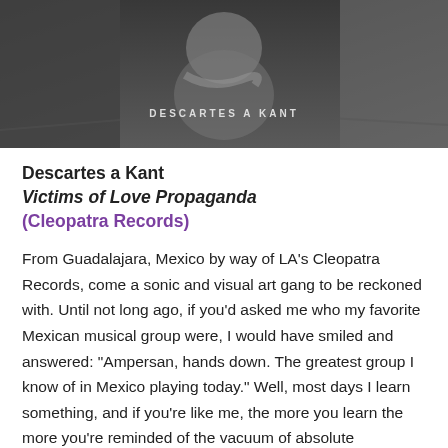[Figure (photo): Black and white album cover photo showing a person with text 'DESCARTES A KANT' overlaid]
Descartes a Kant
Victims of Love Propaganda
(Cleopatra Records)
From Guadalajara, Mexico by way of LA's Cleopatra Records, come a sonic and visual art gang to be reckoned with. Until not long ago, if you'd asked me who my favorite Mexican musical group were, I would have smiled and answered: “Ampersan, hands down. The greatest group I know of in Mexico playing today.” Well, most days I learn something, and if you’re like me, the more you learn the more you’re reminded of the vacuum of absolute ignorance you are trying to fill. Discovering Descartes a Kant was a darkly illuminating experience like being pulled free of a shipwreck by